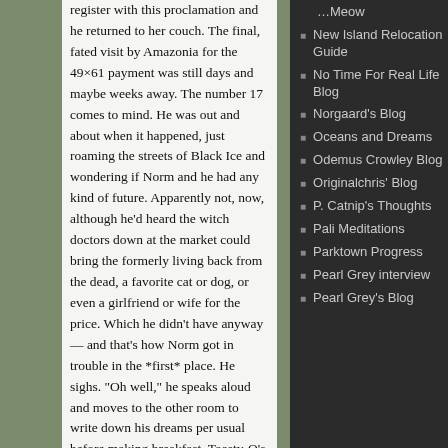register with this proclamation and he returned to her couch. The final, fated visit by Amazonia for the 49×61 payment was still days and maybe weeks away. The number 17 comes to mind. He was out and about when it happened, just roaming the streets of Black Ice and wondering if Norm and he had any kind of future. Apparently not, now, although he'd heard the witch doctors down at the market could bring the formerly living back from the dead, a favorite cat or dog, or even a girlfriend or wife for the price. Which he didn't have anyway — and that's how Norm got in trouble in the *first* place. He sighs. "Oh well," he speaks aloud and moves to the other room to write down his dreams per usual before making breakfast. Toasty-O's, the story of his life.
New Island Relocation Guide
No Time For Real Life Blog
Norgaard's Blog
Oceans and Dreams
Odemus Crowley Blog
Originalchris' Blog
P. Catnip's Thoughts
Pali Meditations
Parktown Progress
Pearl Grey interview
Pearl Grey's Blog